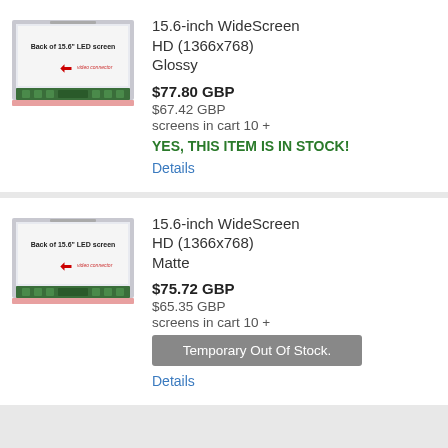[Figure (photo): Back of 15.6 inch LED screen with video connector label]
15.6-inch WideScreen
HD (1366x768)
Glossy
$77.80 GBP
$67.42 GBP
screens in cart 10 +
YES, THIS ITEM IS IN STOCK!
Details
[Figure (photo): Back of 15.6 inch LED screen with video connector label]
15.6-inch WideScreen
HD (1366x768)
Matte
$75.72 GBP
$65.35 GBP
screens in cart 10 +
Temporary Out Of Stock.
Details